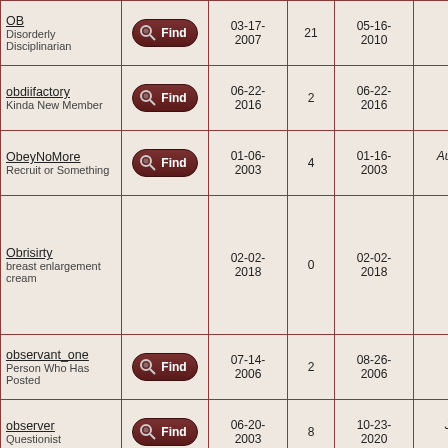| Username / Rank | Find | Join Date | Posts | Last Post | Birthday |
| --- | --- | --- | --- | --- | --- |
| OB / Disorderly Disciplinarian | Find | 03-17-2007 | 21 | 05-16-2010 |  |
| obdiifactory / Kinda New Member | Find | 06-22-2016 | 2 | 06-22-2016 |  |
| ObeyNoMore / Recruit or Something | Find | 01-06-2003 | 4 | 01-16-2003 | August 9, 1962 |
| Obrisirty / breast enlargement cream |  | 02-02-2018 | 0 | 02-02-2018 |  |
| observant_one / Person Who Has Posted | Find | 07-14-2006 | 2 | 08-26-2006 |  |
| observer / Questionist | Find | 06-20-2003 | 8 | 10-23-2020 | July 3, 1970 |
| Obsidious / Person Who Has Posted | Find | 01-25-2003 | 2 | 03-22-2004 |  |